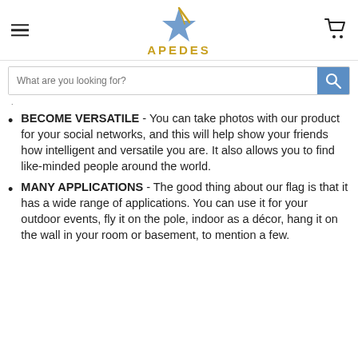APEDES
BECOME VERSATILE - You can take photos with our product for your social networks, and this will help show your friends how intelligent and versatile you are. It also allows you to find like-minded people around the world.
MANY APPLICATIONS - The good thing about our flag is that it has a wide range of applications. You can use it for your outdoor events, fly it on the pole, indoor as a décor, hang it on the wall in your room or basement, to mention a few.